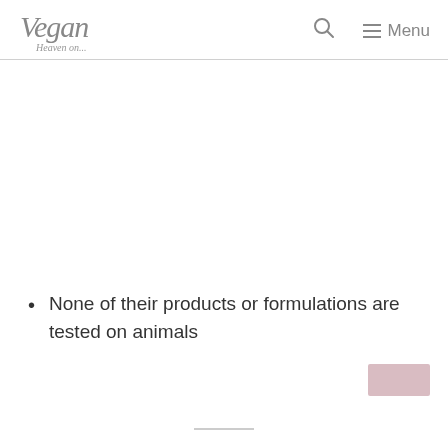Vegan Heaven — Search — Menu
None of their products or formulations are tested on animals